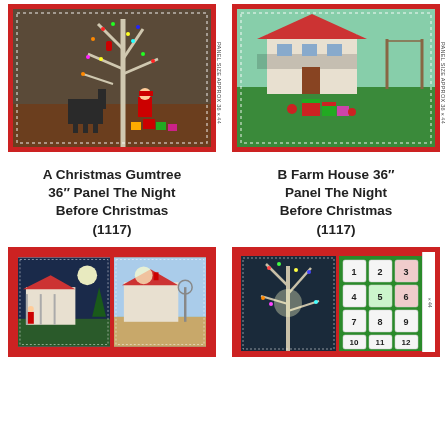[Figure (photo): A Christmas Gumtree fabric panel with Santa, a horse, fairy lights on a gum tree, and gifts. Red border with dashed white inner border. Vertical text on right edge: PANEL SIZE APPROX 36x44.]
[Figure (photo): B Farm House fabric panel showing a farmhouse with Christmas gifts in foreground. Red border with dashed white inner border. Vertical text on right edge: PANEL SIZE APPROX 36x44.]
A Christmas Gumtree 36″ Panel The Night Before Christmas (1117)
B Farm House 36″ Panel The Night Before Christmas (1117)
[Figure (photo): Bottom left fabric panel showing two scenes of an outback homestead with Santa visiting; red border.]
[Figure (photo): Bottom right fabric panel showing a gum tree with Christmas lights and an advent calendar grid numbered 1-12 on green background; red border.]